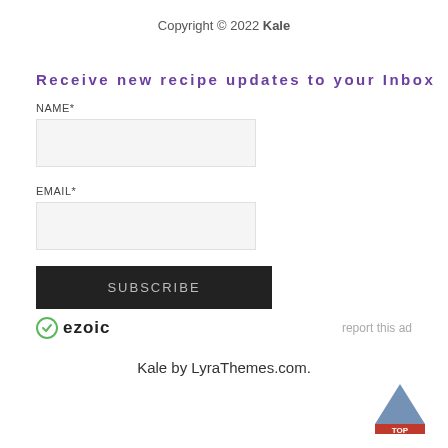Copyright © 2022 Kale
Receive new recipe updates to your Inbox
NAME*
EMAIL*
SUBSCRIBE
[Figure (logo): Ezoic logo with circular icon and bold text 'ezoic']
report this ad
Kale by LyraThemes.com.
[Figure (illustration): Partially visible 'TOP' back-to-top button icon in bottom right corner]